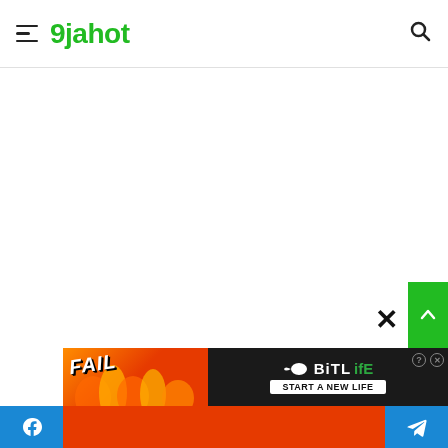9jahot
[Figure (screenshot): White blank content area of the 9jahot website]
[Figure (infographic): BitLife advertisement banner with FAIL text, flames, character, and START A NEW LIFE text on dark background]
Facebook share button | Ad banner | Telegram share button